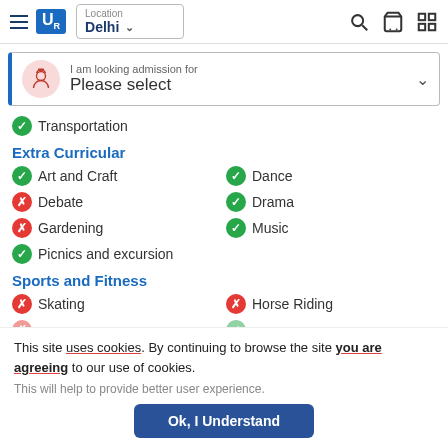UR | Location: Delhi
I am looking admission for / Please select
✓ Transportation
Extra Curricular
✓ Art and Craft
✓ Dance
✗ Debate
✓ Drama
✗ Gardening
✓ Music
✓ Picnics and excursion
Sports and Fitness
✗ Skating
✗ Horse Riding
This site uses cookies. By continuing to browse the site you are agreeing to our use of cookies.
This will help to provide better user experience.
Ok, I Understand